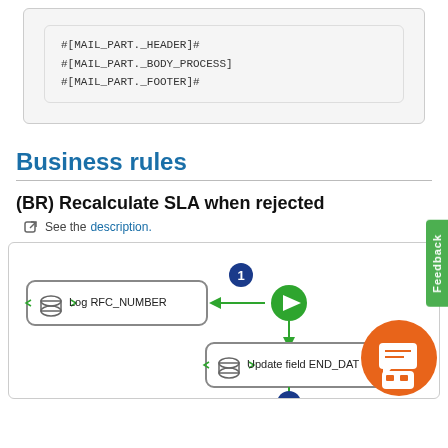[Figure (screenshot): Code block showing mail part template variables: #[MAIL_PART._HEADER]#, #[MAIL_PART._BODY_PROCESS], #[MAIL_PART._FOOTER]#]
Business rules
(BR) Recalculate SLA when rejected
See the description.
[Figure (flowchart): Business rule flowchart showing Log RFC_NUMBER node connected via arrow to a play button, which connects down to Update field END_DAT node. A numbered circle '1' labels the top connection and circle '2' appears at the bottom. An orange chat/robot icon is in the lower right.]